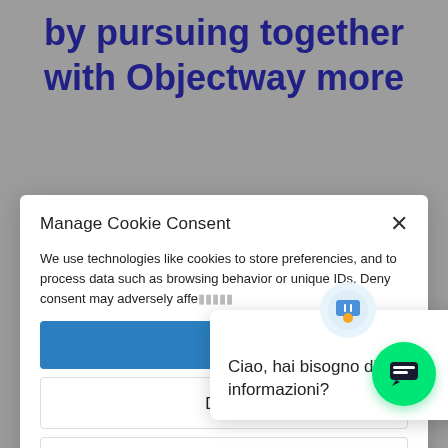by pursuing together with Objectway more
Manage Cookie Consent
We use technologies like cookies to store preferencies, and to process data such as browsing behavior or unique IDs. Deny consent may adversely affe...
[Figure (screenshot): Blue accept/allow cookies button (text hidden)]
Deny
View preferences
Ciao, hai bisogno di informazioni?
Cookie Policy
Privacy, Data Protection, Terms of Use
Impressum